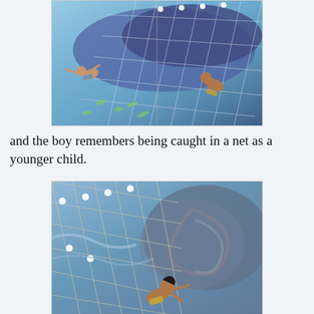[Figure (illustration): Book illustration showing two children swimming underwater near a large fishing net, with small fish visible in the blue water. The image appears to be a double-page spread from a picture book.]
and the boy remembers being caught in a net as a younger child.
[Figure (illustration): Book illustration showing a child caught in or near a large fishing net, with swirling dark water or storm visible in the background. The child appears to be struggling near the net.]